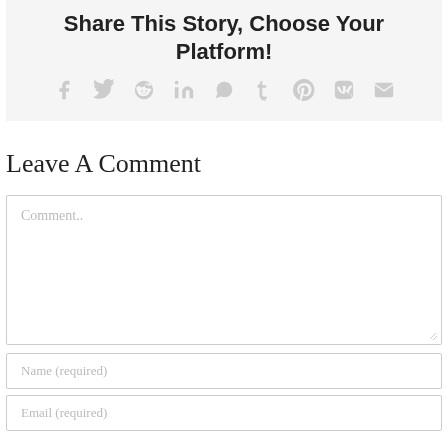Share This Story, Choose Your Platform!
[Figure (infographic): Social media sharing icons: Facebook, Twitter, Reddit, LinkedIn, WhatsApp, Tumblr, Pinterest, VK, Email]
Leave A Comment
Comment..
Name (required)
Email (required)